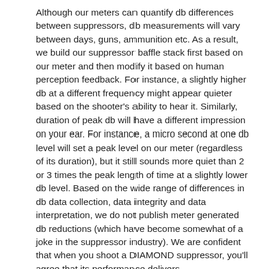Although our meters can quantify db differences between suppressors, db measurements will vary between days, guns, ammunition etc. As a result, we build our suppressor baffle stack first based on our meter and then modify it based on human perception feedback. For instance, a slightly higher db at a different frequency might appear quieter based on the shooter's ability to hear it. Similarly, duration of peak db will have a different impression on your ear. For instance, a micro second at one db level will set a peak level on our meter (regardless of its duration), but it still sounds more quiet than 2 or 3 times the peak length of time at a slightly lower db level. Based on the wide range of differences in db data collection, data integrity and data interpretation, we do not publish meter generated db reductions (which have become somewhat of a joke in the suppressor industry). We are confident that when you shoot a DIAMOND suppressor, you'll agree that its performance delivers.
2. COMPLETELY DISASSEMBLE TO CLEAN OR SERVICE (By The User)